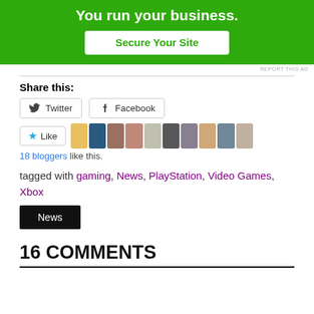[Figure (other): Green advertisement banner with white bold text 'You run your business.' and a white button labeled 'Secure Your Site' in green text]
REPORT THIS AD
Share this:
Twitter  Facebook
Like  [18 blogger avatars]
18 bloggers like this.
tagged with gaming, News, PlayStation, Video Games, Xbox
News
16 COMMENTS